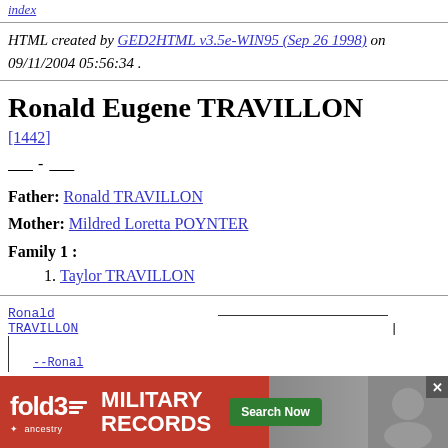HTML created by GED2HTML v3.5e-WIN95 (Sep 26 1998) on 09/11/2004 05:56:34 .
Ronald Eugene TRAVILLON
[1442]
____ - ____
Father: Ronald TRAVILLON
Mother: Mildred Loretta POYNTER
Family 1 :
1. Taylor TRAVILLON
Ronald TRAVILLON
[Figure (infographic): Fold3 Military Records advertisement banner with red background, logo, and Search Now button]